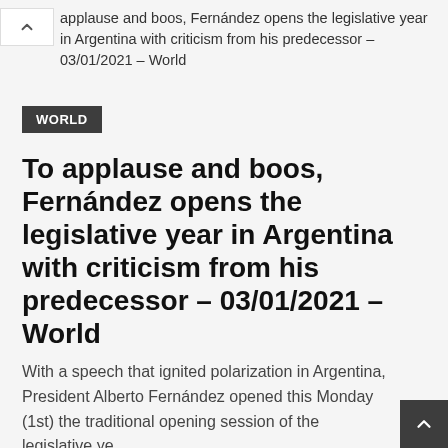applause and boos, Fernández opens the legislative year in Argentina with criticism from his predecessor – 03/01/2021 – World
WORLD
To applause and boos, Fernández opens the legislative year in Argentina with criticism from his predecessor – 03/01/2021 – World
With a speech that ignited polarization in Argentina, President Alberto Fernández opened this Monday (1st) the traditional opening session of the legislative year Congress.